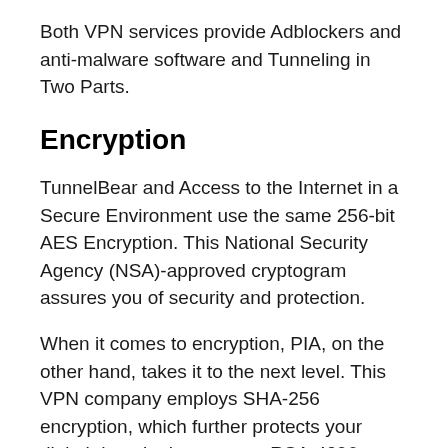Both VPN services provide Adblockers and anti-malware software and Tunneling in Two Parts.
Encryption
TunnelBear and Access to the Internet in a Secure Environment use the same 256-bit AES Encryption. This National Security Agency (NSA)-approved cryptogram assures you of security and protection.
When it comes to encryption, PIA, on the other hand, takes it to the next level. This VPN company employs SHA-256 encryption, which further protects your digital data. It also uses an RSA-4096 handshake to ensure that you aren't